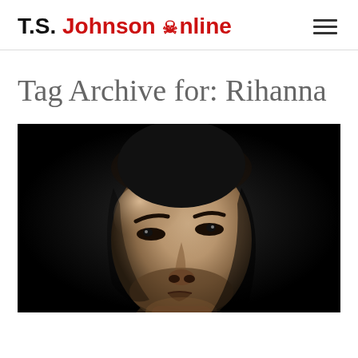T.S. Johnson Online
Tag Archive for: Rihanna
[Figure (photo): Black and white portrait photo of a man with short hair looking upward against a dark background]